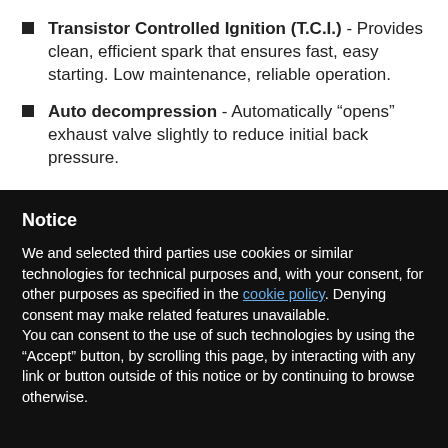Transistor Controlled Ignition (T.C.I.) - Provides clean, efficient spark that ensures fast, easy starting. Low maintenance, reliable operation.
Auto decompression - Automatically “opens” exhaust valve slightly to reduce initial back pressure.
Notice
We and selected third parties use cookies or similar technologies for technical purposes and, with your consent, for other purposes as specified in the cookie policy. Denying consent may make related features unavailable.
You can consent to the use of such technologies by using the “Accept” button, by scrolling this page, by interacting with any link or button outside of this notice or by continuing to browse otherwise.